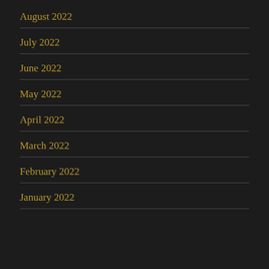August 2022
July 2022
June 2022
May 2022
April 2022
March 2022
February 2022
January 2022